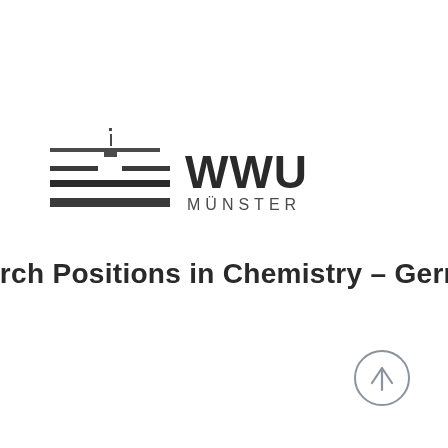[Figure (logo): WWU Münster university logo with stylized horizontal bars and a vertical element resembling a tower or building, with 'WWU' in large bold letters and 'MÜNSTER' in smaller spaced letters below]
arch Positions in Chemistry – Germany